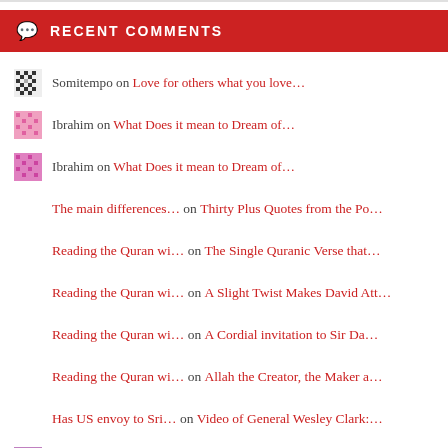RECENT COMMENTS
Somitempo on Love for others what you love…
Ibrahim on What Does it mean to Dream of…
Ibrahim on What Does it mean to Dream of…
The main differences… on Thirty Plus Quotes from the Po…
Reading the Quran wi… on The Single Quranic Verse that…
Reading the Quran wi… on A Slight Twist Makes David Att…
Reading the Quran wi… on A Cordial invitation to Sir Da…
Reading the Quran wi… on Allah the Creator, the Maker a…
Has US envoy to Sri… on Video of General Wesley Clark:…
Abdul Aziz on What Does it mean to Dream of…